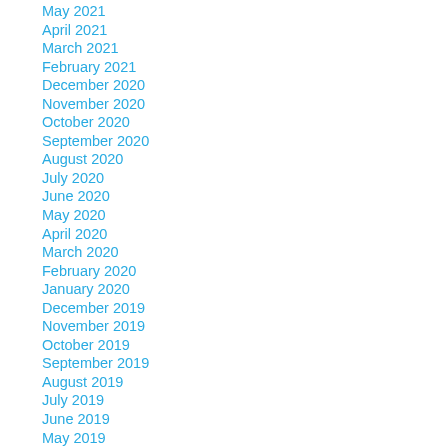May 2021
April 2021
March 2021
February 2021
December 2020
November 2020
October 2020
September 2020
August 2020
July 2020
June 2020
May 2020
April 2020
March 2020
February 2020
January 2020
December 2019
November 2019
October 2019
September 2019
August 2019
July 2019
June 2019
May 2019
April 2019